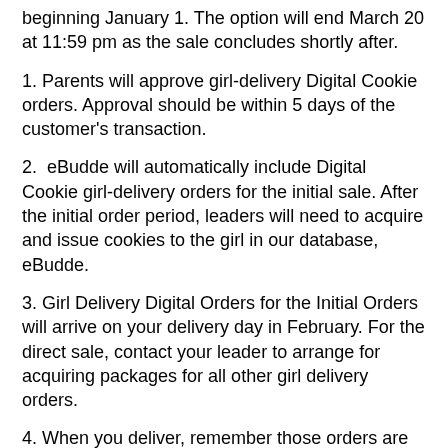beginning January 1. The option will end March 20 at 11:59 pm as the sale concludes shortly after.
1. Parents will approve girl-delivery Digital Cookie orders. Approval should be within 5 days of the customer's transaction.
2.  eBudde will automatically include Digital Cookie girl-delivery orders for the initial sale. After the initial order period, leaders will need to acquire and issue cookies to the girl in our database, eBudde.
3. Girl Delivery Digital Orders for the Initial Orders will arrive on your delivery day in February. For the direct sale, contact your leader to arrange for acquiring packages for all other girl delivery orders.
4. When you deliver, remember those orders are already paid. Easy!